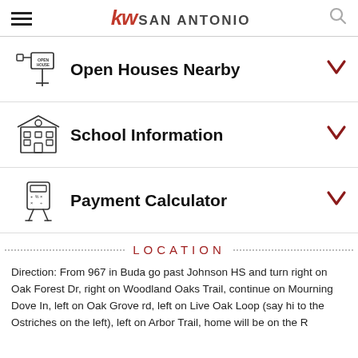kw SAN ANTONIO
Open Houses Nearby
School Information
Payment Calculator
LOCATION
Direction: From 967 in Buda go past Johnson HS and turn right on Oak Forest Dr, right on Woodland Oaks Trail, continue on Mourning Dove In, left on Oak Grove rd, left on Live Oak Loop (say hi to the Ostriches on the left), left on Arbor Trail, home will be on the R